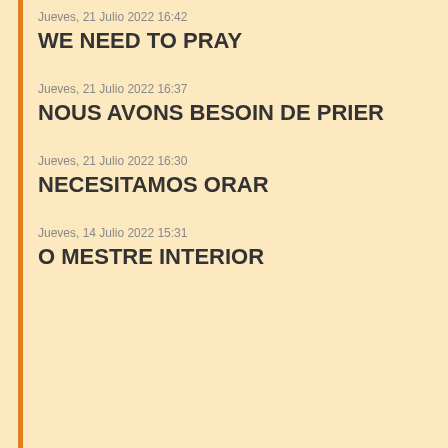Jueves, 21 Julio 2022 16:42
WE NEED TO PRAY
Jueves, 21 Julio 2022 16:37
NOUS AVONS BESOIN DE PRIER
Jueves, 21 Julio 2022 16:30
NECESITAMOS ORAR
Jueves, 14 Julio 2022 15:31
O MESTRE INTERIOR